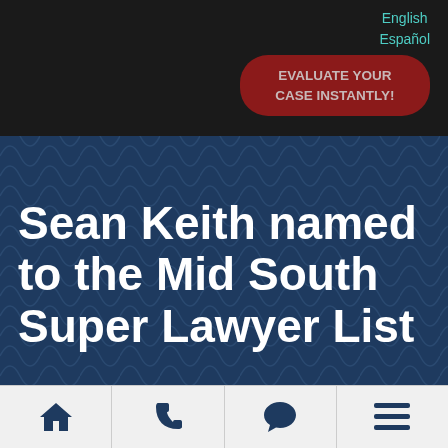English  Español  EVALUATE YOUR CASE INSTANTLY!
Sean Keith named to the Mid South Super Lawyer List
Home - News - Sean Keith named to the Mid South Super Lawyer List
[Figure (other): Bottom navigation bar with home, phone, chat, and menu icons]